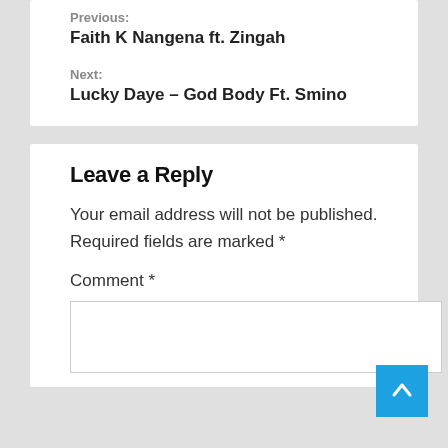Previous:
Faith K Nangena ft. Zingah
Next:
Lucky Daye – God Body Ft. Smino
Leave a Reply
Your email address will not be published. Required fields are marked *
Comment *